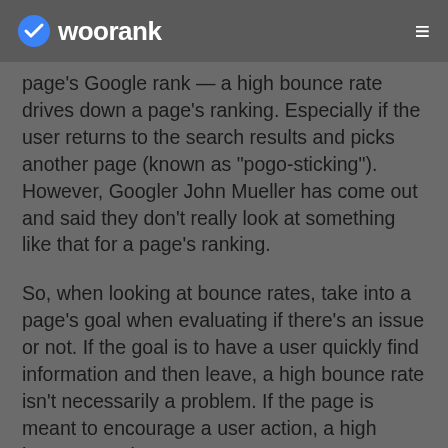woorank ≡
page's Google rank — a high bounce rate drives down a page's ranking. Especially if the user returns to the search results and picks another page (known as "pogo-sticking"). However, Googler John Mueller has come out and said they don't really look at something like that for a page's ranking.
So, when looking at bounce rates, take into a page's goal when evaluating if there's an issue or not. If the goal is to have a user quickly find information and then leave, a high bounce rate isn't necessarily a problem. If the page is meant to encourage a user action, a high bounce rate is